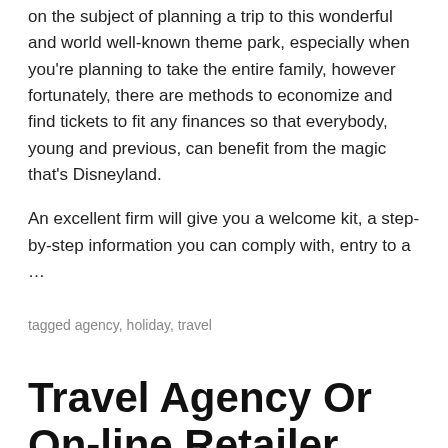on the subject of planning a trip to this wonderful and world well-known theme park, especially when you're planning to take the entire family, however fortunately, there are methods to economize and find tickets to fit any finances so that everybody, young and previous, can benefit from the magic that's Disneyland.
An excellent firm will give you a welcome kit, a step-by-step information you can comply with, entry to a …
tagged agency, holiday, travel
Travel Agency Or On-line Retailer
january 30, 2020 by alzbeta, posted in travel agency